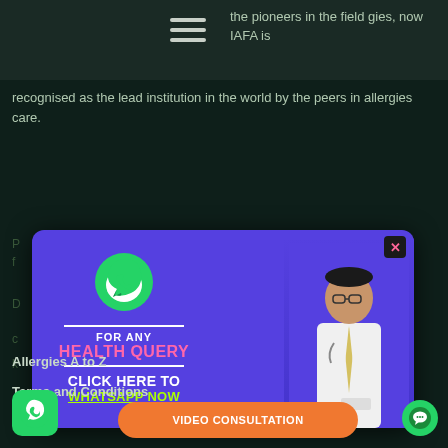the pioneers in the field gies, now IAFA is recognised as the lead institution in the world by the peers in allergies care.
[Figure (screenshot): WhatsApp promotional popup banner with blue/purple background. Left side shows WhatsApp green icon, text 'FOR ANY HEALTH QUERY' and 'CLICK HERE TO WHATSAPP NOW'. Right side shows a doctor in white coat. Close button (x) in top-right corner.]
Allergies A to Z
Terms and Conditions
pediatric
[Figure (logo): WhatsApp floating button bottom left]
[Figure (infographic): VIDEO CONSULTATION orange button]
[Figure (logo): Chat bubble button bottom right]